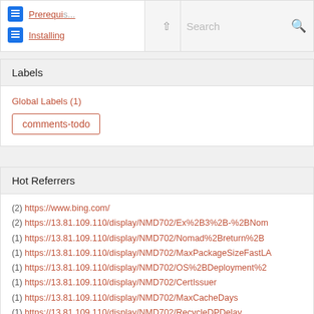Prerequisites
Installing
Labels
Global Labels (1)
comments-todo
Hot Referrers
(2) https://www.bing.com/
(2) https://13.81.109.110/display/NMD702/Ex%2B3%2B-%2BNom...
(1) https://13.81.109.110/display/NMD702/Nomad%2Breturn%2B...
(1) https://13.81.109.110/display/NMD702/MaxPackageSizeFastLA...
(1) https://13.81.109.110/display/NMD702/OS%2BDeployment%2...
(1) https://13.81.109.110/display/NMD702/CertIssuer
(1) https://13.81.109.110/display/NMD702/MaxCacheDays
(1) https://13.81.109.110/display/NMD702/RecycleDPDelay
(1) https://13.81.109.110/display/NMD702/Troubleshooting%2BNe...
(1) https://13.81.109.110/display/NMD702/DownloadTimeout